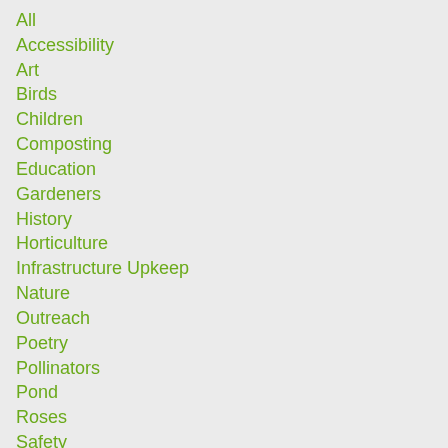All
Accessibility
Art
Birds
Children
Composting
Education
Gardeners
History
Horticulture
Infrastructure Upkeep
Nature
Outreach
Poetry
Pollinators
Pond
Roses
Safety
Service
Social Events
Stewardship